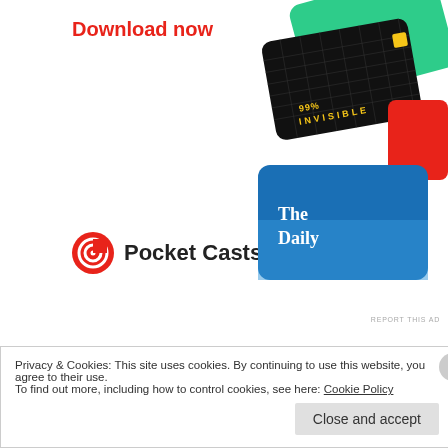[Figure (illustration): Pocket Casts advertisement showing podcast app covers including 99% Invisible and The Daily, with a Download now call-to-action and Pocket Casts logo]
Share this:
Twitter
Facebook
Loading...
Privacy & Cookies: This site uses cookies. By continuing to use this website, you agree to their use. To find out more, including how to control cookies, see here: Cookie Policy
Close and accept